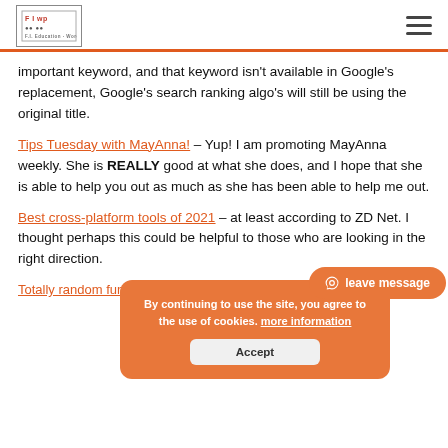FIWP (logo) | hamburger menu
important keyword, and that keyword isn't available in Google's replacement, Google's search ranking algo's will still be using the original title.
Tips Tuesday with MayAnna! – Yup! I am promoting MayAnna weekly. She is REALLY good at what she does, and I hope that she is able to help you out as much as she has been able to help me out.
Best cross-platform tools of 2021 – at least according to ZD Net. I thought perhaps this could be helpful to those who are looking in the right direction.
By continuing to use the site, you agree to the use of cookies. more information [Accept]
leave message
Totally random fun thing: 2222-2222-G22222222 (Tiny Text Generator)